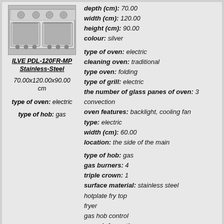[Figure (photo): Photo of ILVE PDL-120FR-MP kitchen stove, stainless steel, large range cooker with two ovens and gas hob]
ILVE PDL-120FR-MP Stainless-Steel
70.00x120.00x90.00 cm
type of oven: electric
type of hob: gas
depth (cm): 70.00
width (cm): 120.00
height (cm): 90.00
colour: silver

type of oven: electric
cleaning oven: traditional
type oven: folding
type of grill: electric
the number of glass panes of oven: 3
convection
oven features: backlight, cooling fan
type: electric
width (cm): 60.00
location: the side of the main

type of hob: gas
gas burners: 4
triple crown: 1
surface material: stainless steel
hotplate fry top
fryer
gas hob control
more information
[Figure (photo): Photo of ILVE PI-60L-MP kitchen stove, stainless steel, compact unit]
Kitchen Stove ILVE PI-60L-MP Stainless-Steel Characteristics
manufacturer: ILVE
switches: slewing
drawer sideboard
availability display
availability timer